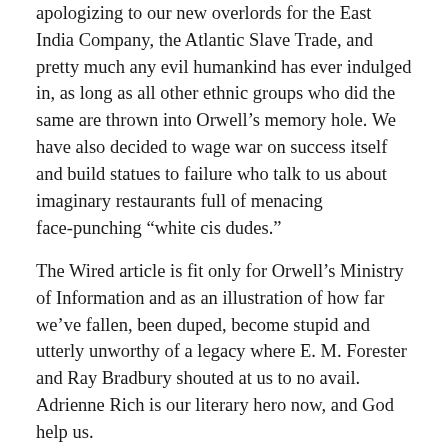apologizing to our new overlords for the East India Company, the Atlantic Slave Trade, and pretty much any evil humankind has ever indulged in, as long as all other ethnic groups who did the same are thrown into Orwell’s memory hole. We have also decided to wage war on success itself and build statues to failure who talk to us about imaginary restaurants full of menacing face-punching “white cis dudes.”
The Wired article is fit only for Orwell’s Ministry of Information and as an illustration of how far we’ve fallen, been duped, become stupid and utterly unworthy of a legacy where E. M. Forester and Ray Bradbury shouted at us to no avail. Adrienne Rich is our literary hero now, and God help us.